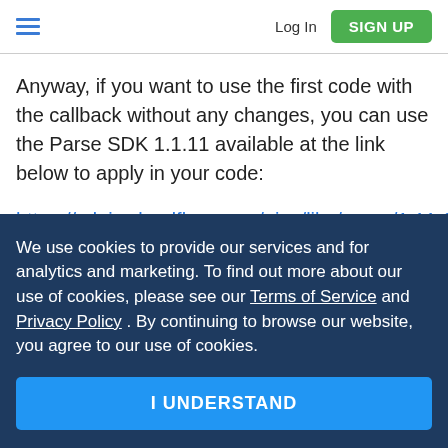Log In  SIGN UP
Anyway, if you want to use the first code with the callback without any changes, you can use the Parse SDK 1.1.11 available at the link below to apply in your code:
https://cdnjs.cloudflare.com/ajax/libs/parse/1.11.1/parse.min.js
We use cookies to provide our services and for analytics and marketing. To find out more about our use of cookies, please see our Terms of Service and Privacy Policy . By continuing to browse our website, you agree to our use of cookies.
I UNDERSTAND